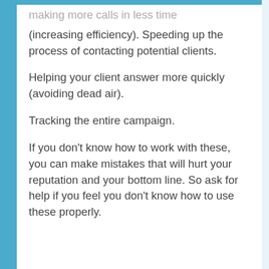making more calls in less time (increasing efficiency). Speeding up the process of contacting potential clients.
Helping your client answer more quickly (avoiding dead air).
Tracking the entire campaign.
If you don’t know how to work with these, you can make mistakes that will hurt your reputation and your bottom line. So ask for help if you feel you don’t know how to use these properly.